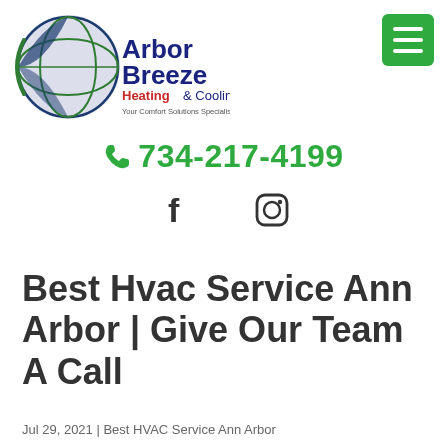[Figure (logo): Arbor Breeze Heating & Cooling logo — globe icon with blue and green, company name in dark blue and red text, tagline 'Your Comfort Solutions Specialist']
[Figure (other): Green hamburger menu button (three white horizontal lines on green rounded rectangle background)]
📞 734-217-4199
[Figure (other): Facebook icon (f) and Instagram icon in dark gray]
Best Hvac Service Ann Arbor | Give Our Team A Call
Jul 29, 2021 | Best HVAC Service Ann Arbor